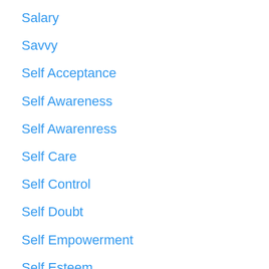Salary
Savvy
Self Acceptance
Self Awareness
Self Awarenress
Self Care
Self Control
Self Doubt
Self Empowerment
Self Esteem
Self Love